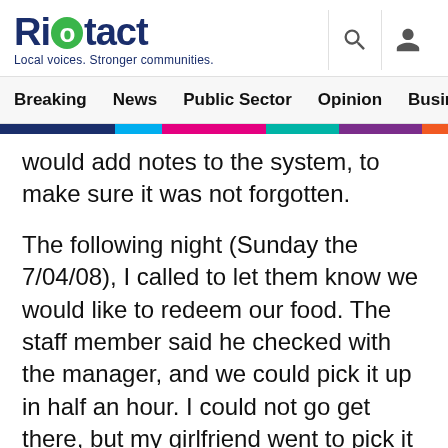Riotact — Local voices. Stronger communities.
Breaking  News  Public Sector  Opinion  Business  R
would add notes to the system, to make sure it was not forgotten.
The following night (Sunday the 7/04/08), I called to let them know we would like to redeem our food. The staff member said he checked with the manager, and we could pick it up in half an hour. I could not go get there, but my girlfriend went to pick it up. When she arrived at the restaurant, the waiter advised